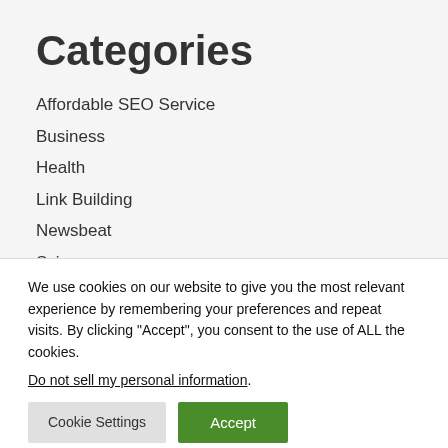Categories
Affordable SEO Service
Business
Health
Link Building
Newsbeat
Science
We use cookies on our website to give you the most relevant experience by remembering your preferences and repeat visits. By clicking "Accept", you consent to the use of ALL the cookies.
Do not sell my personal information.
Cookie Settings | Accept